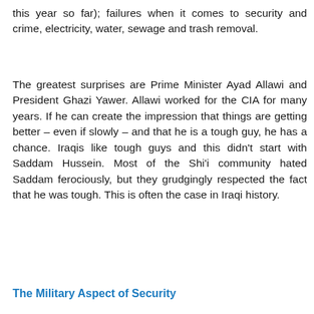this year so far); failures when it comes to security and crime, electricity, water, sewage and trash removal.
The greatest surprises are Prime Minister Ayad Allawi and President Ghazi Yawer. Allawi worked for the CIA for many years. If he can create the impression that things are getting better – even if slowly – and that he is a tough guy, he has a chance. Iraqis like tough guys and this didn't start with Saddam Hussein. Most of the Shi'i community hated Saddam ferociously, but they grudgingly respected the fact that he was tough. This is often the case in Iraqi history.
The Military Aspect of Security